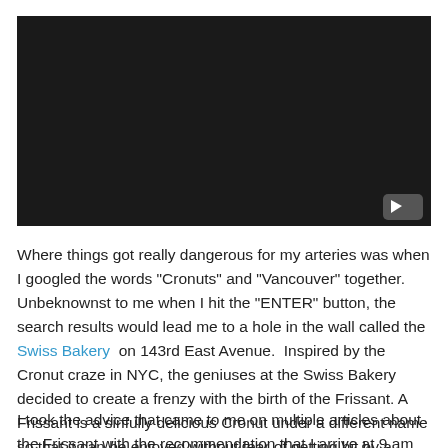[Figure (screenshot): Black video player rectangle with a YouTube play button icon in the bottom right corner]
Where things got really dangerous for my arteries was when I googled the words "Cronuts" and "Vancouver" together. Unbeknownst to me when I hit the "ENTER" button, the search results would lead me to a hole in the wall called the Swiss Bakery on 143rd East Avenue.  Inspired by the Cronut craze in NYC, the geniuses at the Swiss Bakery decided to create a frenzy with the birth of the Frissant. A Frissant is a sinfully delicious Cronut under a different name so that it can be enjoyed without fear of getting hit by a lawsuit due to patent infringement.
I took the advice that came to me on multiple articles about the Frissant with the recommendation that I arrive at 9 am